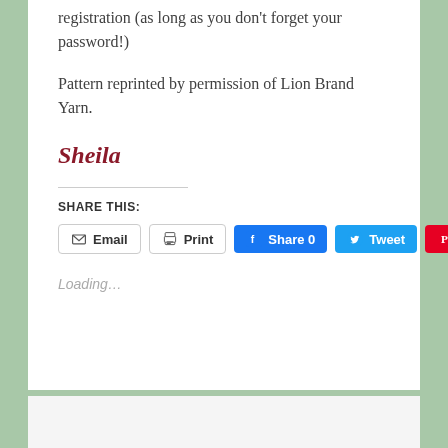registration (as long as you don't forget your password!)
Pattern reprinted by permission of Lion Brand Yarn.
Sheila
SHARE THIS:
[Figure (screenshot): Social share buttons: Email, Print, Share 0 (Facebook), Tweet (Twitter), Save (Pinterest)]
Loading...